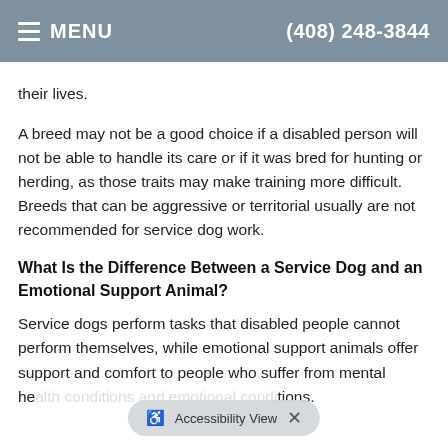MENU  (408) 248-3844
their lives.
A breed may not be a good choice if a disabled person will not be able to handle its care or if it was bred for hunting or herding, as those traits may make training more difficult. Breeds that can be aggressive or territorial usually are not recommended for service dog work.
What Is the Difference Between a Service Dog and an Emotional Support Animal?
Service dogs perform tasks that disabled people cannot perform themselves, while emotional support animals offer support and comfort to people who suffer from mental he... tions.